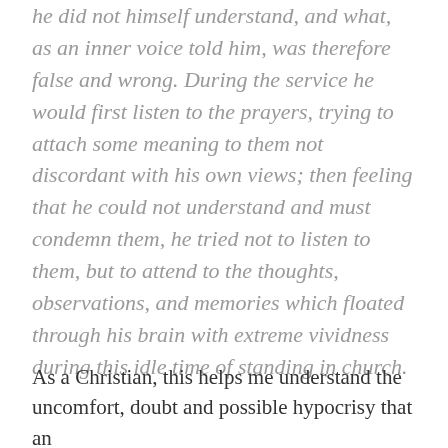he did not himself understand, and what, as an inner voice told him, was therefore false and wrong. During the service he would first listen to the prayers, trying to attach some meaning to them not discordant with his own views; then feeling that he could not understand and must condemn them, he tried not to listen to them, but to attend to the thoughts, observations, and memories which floated through his brain with extreme vividness during this idle time of standing in church.
As a Christian, this helps me understand the uncomfort, doubt and possible hypocrisy that an